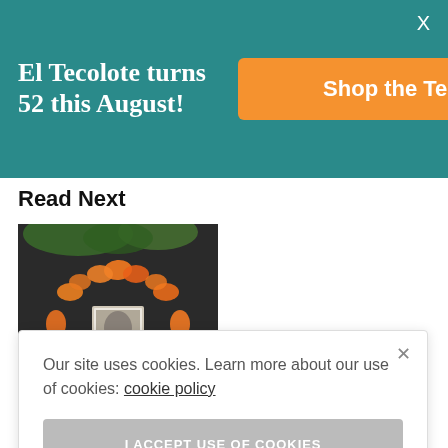El Tecolote turns 52 this August!
Shop the Teco store
Read Next
[Figure (photo): Photo of a Day of the Dead ofrenda with orange marigold flowers arranged in a circle around a small photograph, on a dark surface with greenery in the background.]
PHOTOS: The
Our site uses cookies. Learn more about our use of cookies: cookie policy
I ACCEPT USE OF COOKIES